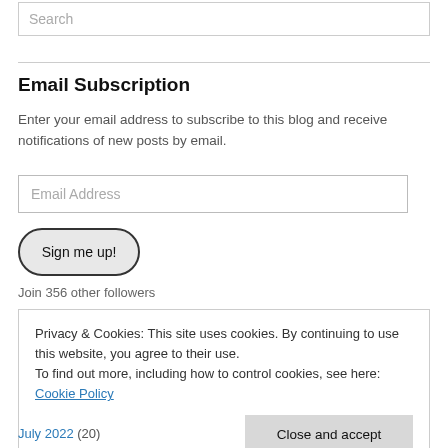Search
Email Subscription
Enter your email address to subscribe to this blog and receive notifications of new posts by email.
Email Address
Sign me up!
Join 356 other followers
Privacy & Cookies: This site uses cookies. By continuing to use this website, you agree to their use.
To find out more, including how to control cookies, see here: Cookie Policy
Close and accept
July 2022 (20)